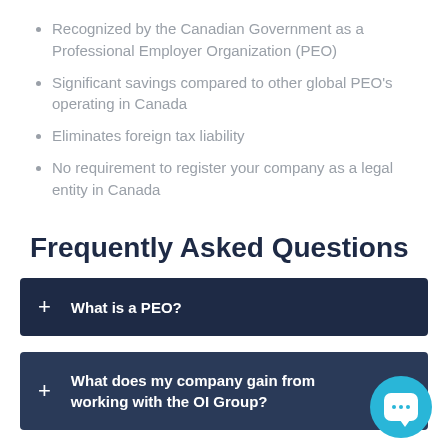Recognized by the Canadian Government as a Professional Employer Organization (PEO)
Significant savings compared to other global PEO's operating in Canada
Eliminates foreign tax liability
No requirement to register your company as a legal entity in Canada
Frequently Asked Questions
+ What is a PEO?
+ What does my company gain from working with the OI Group?